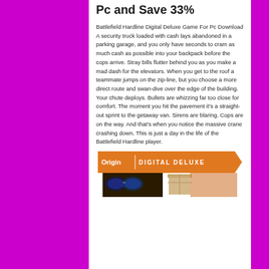Pc and Save 33%
Battlefield Hardline Digital Deluxe Game For Pc Download A security truck loaded with cash lays abandoned in a parking garage, and you only have seconds to cram as much cash as possible into your backpack before the cops arrive. Stray bills flutter behind you as you make a mad dash for the elevators. When you get to the roof a teammate jumps on the zip-line, but you choose a more direct route and swan-dive over the edge of the building. Your chute deploys. Bullets are whizzing far too close for comfort. The moment you hit the pavement it's a straight-out sprint to the getaway van. Sirens are blaring. Cops are on the way. And that's when you notice the massive crane crashing down. This is just a day in the life of the Battlefield Hardline player.
[Figure (illustration): Origin Digital Deluxe banner with a person wearing reflective sunglasses and a box/case in the background, on an orange banner background.]